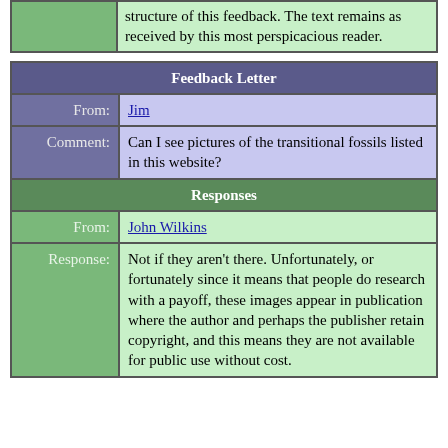|  | structure of this feedback. The text remains as received by this most perspicacious reader. |
| Feedback Letter |
| --- |
| From: | Jim |
| Comment: | Can I see pictures of the transitional fossils listed in this website? |
| Responses |  |
| From: | John Wilkins |
| Response: | Not if they aren't there. Unfortunately, or fortunately since it means that people do research with a payoff, these images appear in publication where the author and perhaps the publisher retain copyright, and this means they are not available for public use without cost. |